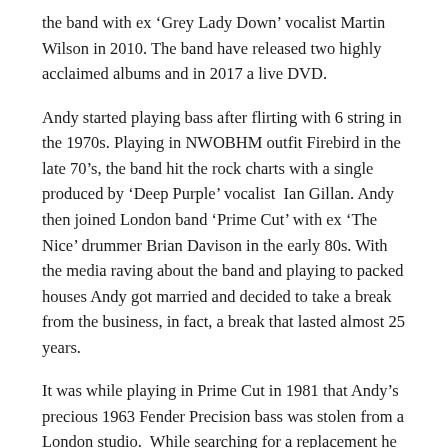the band with ex 'Grey Lady Down' vocalist Martin Wilson in 2010. The band have released two highly acclaimed albums and in 2017 a live DVD.
Andy started playing bass after flirting with 6 string in the 1970s. Playing in NWOBHM outfit Firebird in the late 70’s, the band hit the rock charts with a single produced by ‘Deep Purple’ vocalist  Ian Gillan. Andy then joined London band ‘Prime Cut’ with ex ‘The Nice’ drummer Brian Davison in the early 80s. With the media raving about the band and playing to packed houses Andy got married and decided to take a break from the business, in fact, a break that lasted almost 25 years.
It was while playing in Prime Cut in 1981 that Andy’s precious 1963 Fender Precision bass was stolen from a London studio.  While searching for a replacement he read a review of the British built